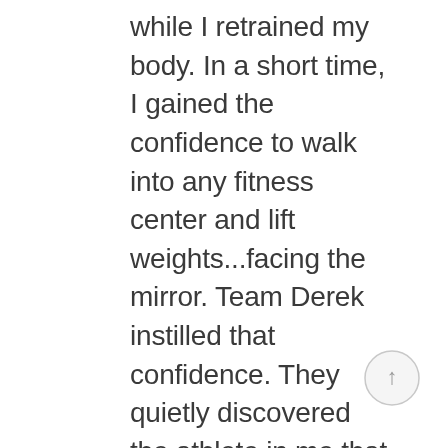while I retrained my body. In a short time, I gained the confidence to walk into any fitness center and lift weights...facing the mirror. Team Derek instilled that confidence. They quietly discovered the athlete in me that I never knew.